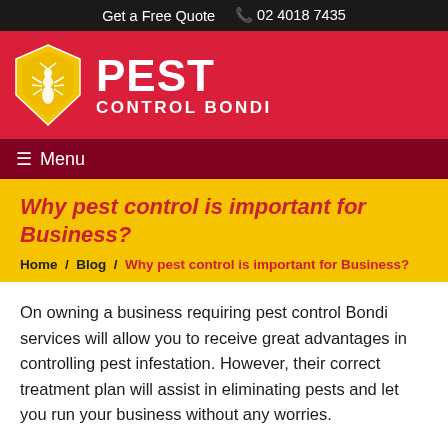Get a Free Quote  📞 02 4018 7435
[Figure (logo): Pest Control Bondi logo: yellow hexagonal shield with ant silhouette, beside bold white text PEST CONTROL BONDI on red background]
Why pest control is important for Business?
Home / Blog / Why pest control is important for Business?
On owning a business requiring pest control Bondi services will allow you to receive great advantages in controlling pest infestation. However, their correct treatment plan will assist in eliminating pests and let you run your business without any worries.